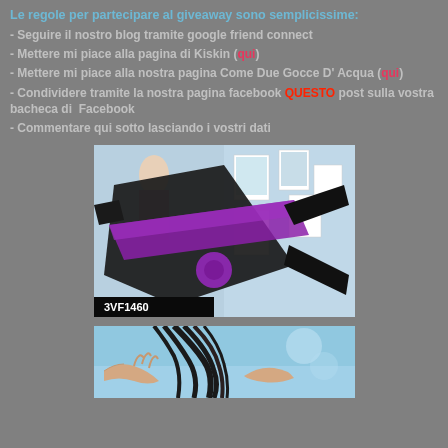Le regole per partecipare al giveaway sono semplicissime:
- Seguire il nostro blog tramite google friend connect
- Mettere mi piace alla pagina di Kiskin (qui)
- Mettere mi piace alla nostra pagina Come Due Gocce D' Acqua (qui)
- Condividere tramite la nostra pagina facebook QUESTO post sulla vostra bacheca di Facebook
- Commentare qui sotto lasciando i vostri dati
[Figure (photo): Black and purple swimwear/clothing item displayed against a backdrop with fashion photographs, with text '3VF14600' visible at the bottom]
[Figure (photo): Partial view of a fashion photo showing hands and hair against a light blue background]